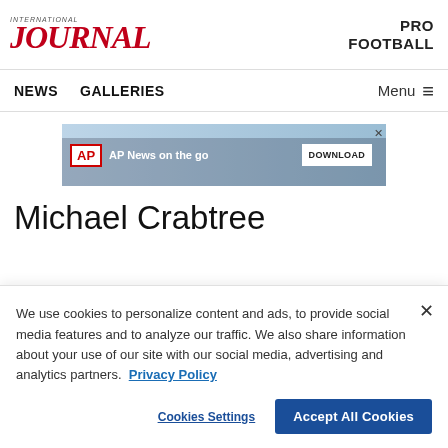JOURNAL / PRO FOOTBALL
NEWS   GALLERIES   Menu
[Figure (screenshot): AP News on the go advertisement banner with silhouetted figures and a DOWNLOAD button]
Michael Crabtree
We use cookies to personalize content and ads, to provide social media features and to analyze our traffic. We also share information about your use of our site with our social media, advertising and analytics partners. Privacy Policy
Cookies Settings   Accept All Cookies